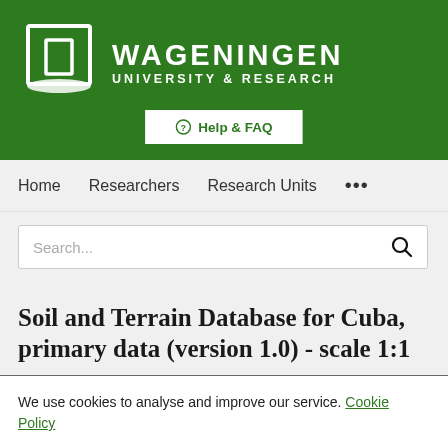[Figure (logo): Wageningen University & Research logo with white building icon and text on green background]
Help & FAQ
Home   Researchers   Research Units   ...
Search...
Soil and Terrain Database for Cuba, primary data (version 1.0) - scale 1:1
We use cookies to analyse and improve our service. Cookie Policy